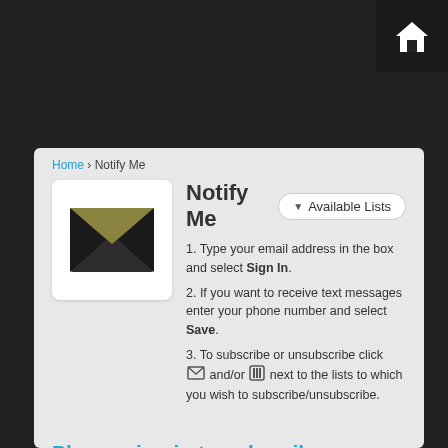[Figure (logo): White house icon on dark background in top-right corner]
Home › Notify Me
Notify Me
[Figure (illustration): Envelope icon in a white rounded square — dark envelope with olive/tan flap]
[Figure (other): Available Lists dropdown button]
1. Type your email address in the box and select Sign In.
2. If you want to receive text messages enter your phone number and select Save.
3. To subscribe or unsubscribe click [email icon] and/or [phone icon] next to the lists to which you wish to subscribe/unsubscribe.
Please sign in to subscribe, unsubscribe, or manage your subscriptions
Email Address